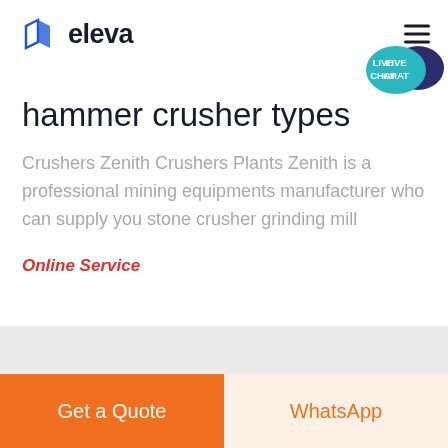eleva
[Figure (logo): Eleva logo with blue book/pages icon and bold dark text 'eleva']
[Figure (illustration): Live Chat speech bubble icon in teal/dark blue]
hammer crusher types
Crushers Zenith Crushers Plants Zenith is a professional mining equipments manufacturer who can supply you stone crusher grinding mill
Online Service
Get a Quote
WhatsApp